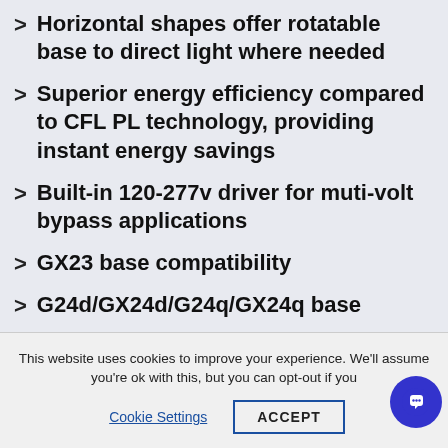Horizontal shapes offer rotatable base to direct light where needed
Superior energy efficiency compared to CFL PL technology, providing instant energy savings
Built-in 120-277v driver for muti-volt bypass applications
GX23 base compatibility
G24d/GX24d/G24q/GX24q base
This website uses cookies to improve your experience. We'll assume you're ok with this, but you can opt-out if you
Cookie Settings   ACCEPT